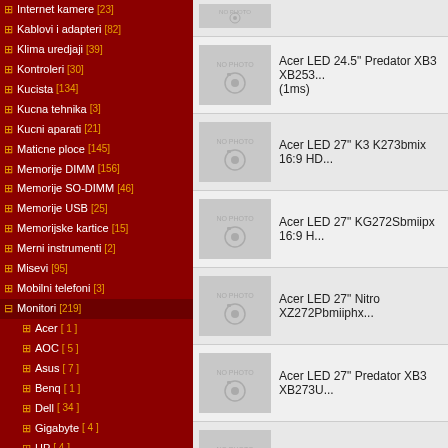Internet kamere [23]
Kablovi i adapteri [82]
Klima uredjaji [39]
Kontroleri [30]
Kucista [134]
Kucna tehnika [3]
Kucni aparati [21]
Maticne ploce [145]
Memorije DIMM [156]
Memorije SO-DIMM [46]
Memorije USB [25]
Memorijske kartice [15]
Merni instrumenti [2]
Misevi [95]
Mobilni telefoni [3]
Monitori [219]
Acer [1]
AOC [5]
Asus [7]
Benq [1]
Dell [34]
Gigabyte [4]
HP [4]
Iiyama [33]
LC-Power [1]
LG [15]
MSI [3]
Philips [7]
Samsung [2]
Tesla [2]
Mrezna oprema [152]
Multifunkcijski uredjaji [54]
Napajanja [87]
NAS uredjaji [17]
Notebook racunari [15]
Oprema za prenosne uredjaje
Acer LED 24.5" Predator XB3 XB253... (1ms)
Acer LED 27" K3 K273bmix 16:9 HD...
Acer LED 27" KG272Sbmiipx 16:9 H...
Acer LED 27" Nitro XZ272Pbmiiphx...
Acer LED 27" Predator XB3 XB273U...
Acer LED 27" VG272Xbmiipx 16:9 H...